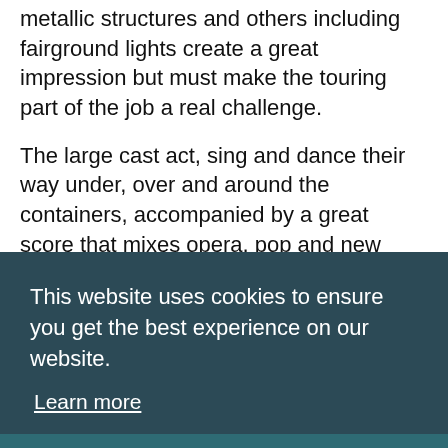metallic structures and others including fairground lights create a great impression but must make the touring part of the job a real challenge.
The large cast act, sing and dance their way under, over and around the containers, accompanied by a great score that mixes opera, pop and new music. As ever, the original music has been composed by Stu Barker, with the bulk of the singing delivered
[Figure (screenshot): Cookie consent overlay with dark teal background. Text reads: 'This website uses cookies to ensure you get the best experience on our website.' with a 'Learn more' underlined link. Below is a teal button bar with 'Got it!' in bold white text.]
impeccably chosen music.